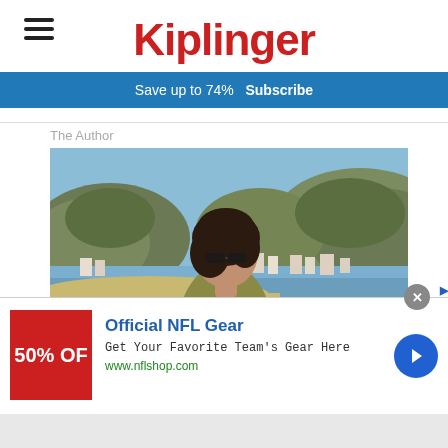Kiplinger
Save up to 74%  Subscribe
The Author
[Figure (photo): A woman with dark short hair and sunglasses, wearing an olive/khaki tank top, photographed in profile against a scenic coastal background with mountains, a beach town, and blue water.]
[Figure (infographic): Advertisement banner: Official NFL Gear - Get Your Favorite Team's Gear Here - www.nflshop.com. Red logo showing '50% OFF'. Blue circular arrow button on the right.]